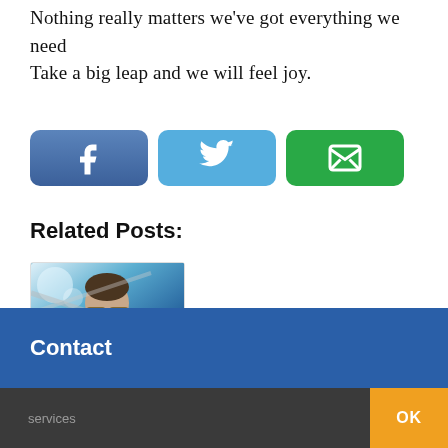Nothing really matters we've got everything we need Take a big leap and we will feel joy.
[Figure (screenshot): Three social share buttons: Facebook (dark blue with f icon), Twitter (light blue with bird icon), Email (green with envelope icon)]
Related Posts:
[Figure (photo): Photo of a man with sunglasses, outdoors, blurred background with teal/blue tones]
Will Young drops
Contact
services  OK